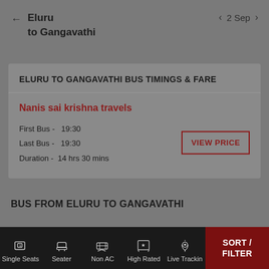Eluru to Gangavathi
2 Sep
ELURU TO GANGAVATHI BUS TIMINGS & FARE
Nanis sai krishna travels
First Bus - 19:30
Last Bus - 19:30
Duration - 14 hrs 30 mins
BUS FROM ELURU TO GANGAVATHI
Single Seats  Seater  Non AC  High Rated  Live Tracking  SORT / FILTER